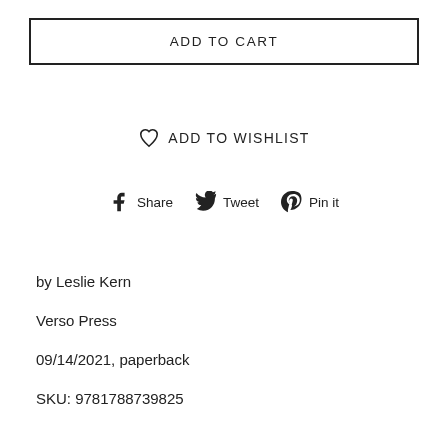ADD TO CART
ADD TO WISHLIST
Share  Tweet  Pin it
by Leslie Kern
Verso Press
09/14/2021, paperback
SKU: 9781788739825